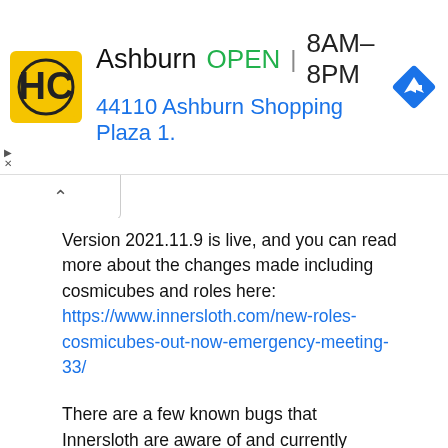[Figure (other): Ad banner for Home Contractors business in Ashburn, showing logo, OPEN status, hours 8AM-8PM, address 44110 Ashburn Shopping Plaza 1., and navigation icon]
Version 2021.11.9 is live, and you can read more about the changes made including cosmicubes and roles here: https://www.innersloth.com/new-roles-cosmicubes-out-now-emergency-meeting-33/
There are a few known bugs that Innersloth are aware of and currently working on. To keep the subreddit tidy, please review the known bugs before posting. You can find the bug status and FAQ's here: https://www.innersloth.com/faq/ . If you don't see the issue you're experiencing on the list you can report your experience to Innersloth at [support@innersloth.com]